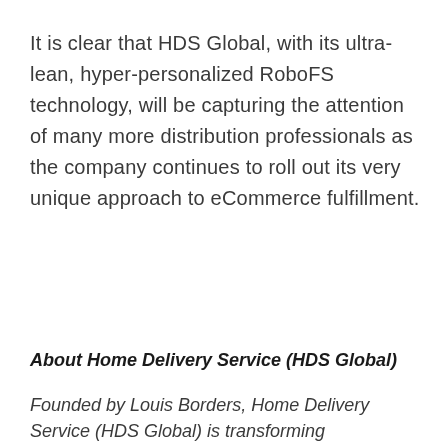It is clear that HDS Global, with its ultra-lean, hyper-personalized RoboFS technology, will be capturing the attention of many more distribution professionals as the company continues to roll out its very unique approach to eCommerce fulfillment.
About Home Delivery Service (HDS Global)
Founded by Louis Borders, Home Delivery Service (HDS Global) is transforming eCommerce – end-to-